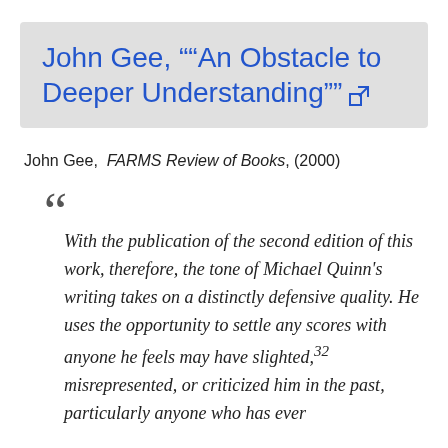John Gee, ""An Obstacle to Deeper Understanding""
John Gee, FARMS Review of Books, (2000)
With the publication of the second edition of this work, therefore, the tone of Michael Quinn's writing takes on a distinctly defensive quality. He uses the opportunity to settle any scores with anyone he feels may have slighted,32 misrepresented, or criticized him in the past, particularly anyone who has ever